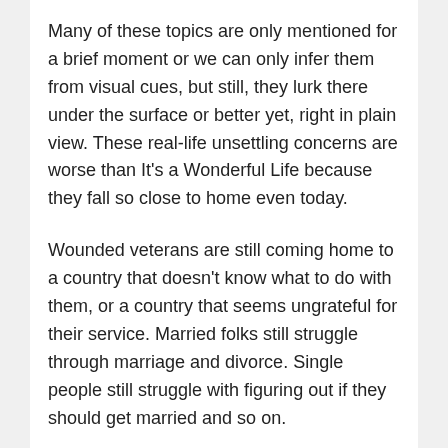Many of these topics are only mentioned for a brief moment or we can only infer them from visual cues, but still, they lurk there under the surface or better yet, right in plain view. These real-life unsettling concerns are worse than It's a Wonderful Life because they fall so close to home even today.
Wounded veterans are still coming home to a country that doesn't know what to do with them, or a country that seems ungrateful for their service. Married folks still struggle through marriage and divorce. Single people still struggle with figuring out if they should get married and so on.
I think part of the reason I admire The Best Years of Our Lives so much, despite its nearly 3 hour running time, is its ability to captivate my attention rather like a day in the life of someone I would meet on the street. Although Virginia Mayo and Mryna Loy seem the most Hollywood, most everyone feels rather ordinary. Certainly, Dana Andrews is handsome and Teresa Wright, as well as